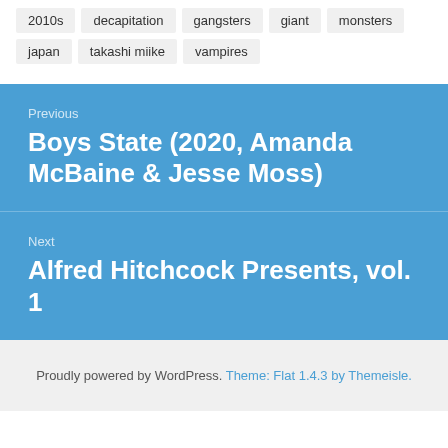2010s
decapitation
gangsters
giant monsters
japan
takashi miike
vampires
Previous
Boys State (2020, Amanda McBaine & Jesse Moss)
Next
Alfred Hitchcock Presents, vol. 1
Proudly powered by WordPress. Theme: Flat 1.4.3 by Themeisle.